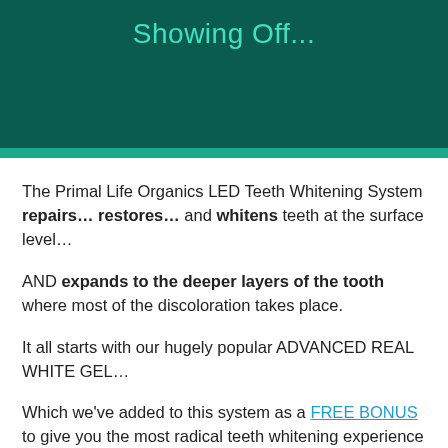Showing Off...
The Primal Life Organics LED Teeth Whitening System repairs... restores... and whitens teeth at the surface level...
AND expands to the deeper layers of the tooth where most of the discoloration takes place.
It all starts with our hugely popular ADVANCED REAL WHITE GEL...
Which we've added to this system as a FREE BONUS to give you the most radical teeth whitening experience you've ever had.